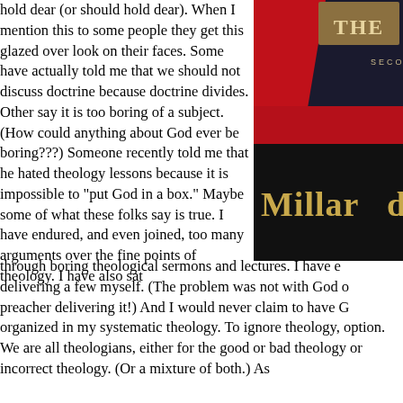hold dear (or should hold dear). When I mention this to some people they get this glazed over look on their faces. Some have actually told me that we should not discuss doctrine because doctrine divides. Other say it is too boring of a subject. (How could anything about God ever be boring???) Someone recently told me that he hated theology lessons because it is impossible to "put God in a box." Maybe some of what these folks say is true. I have endured, and even joined, too many arguments over the fine points of theology. I have also sat through boring theological sermons and lectures. I have e delivering a few myself. (The problem was not with God o preacher delivering it!) And I would never claim to have G organized in my systematic theology. To ignore theology, option. We are all theologians, either for the good or bad theology or incorrect theology. (Or a mixture of both.) As
[Figure (photo): Book cover showing a red and black design with gold text reading 'THE' at top and 'Millard' visible, with 'SECON' partially visible — appears to be a theology textbook cover]